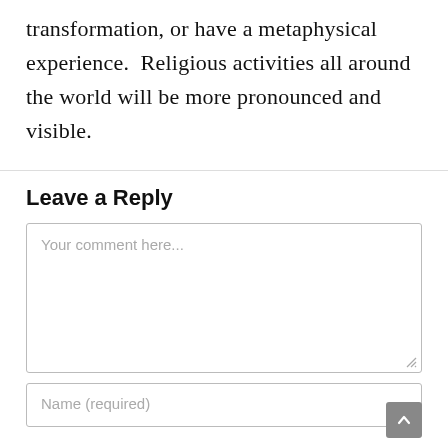transformation, or have a metaphysical experience.  Religious activities all around the world will be more pronounced and visible.
Leave a Reply
Your comment here...
Name (required)